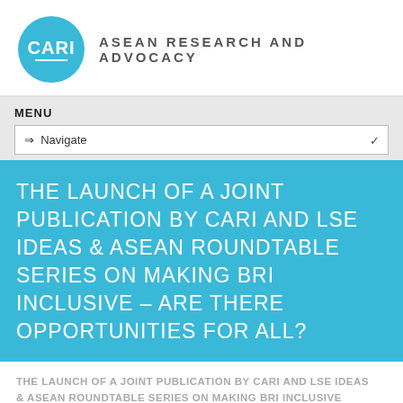[Figure (logo): CARI - ASEAN Research and Advocacy logo with teal circle and organization name in gray uppercase letters]
MENU
⇒ Navigate
THE LAUNCH OF A JOINT PUBLICATION BY CARI AND LSE IDEAS & ASEAN ROUNDTABLE SERIES ON MAKING BRI INCLUSIVE – ARE THERE OPPORTUNITIES FOR ALL?
THE LAUNCH OF A JOINT PUBLICATION BY CARI AND LSE IDEAS & ASEAN ROUNDTABLE SERIES ON MAKING BRI INCLUSIVE